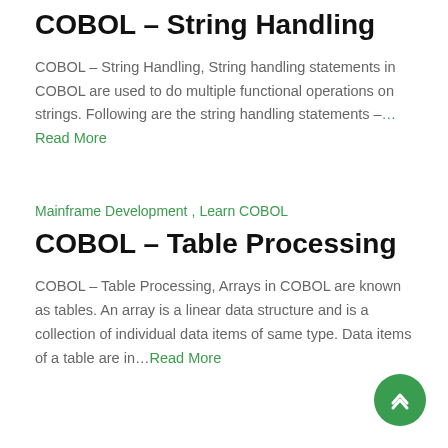COBOL – String Handling
COBOL – String Handling, String handling statements in COBOL are used to do multiple functional operations on strings. Following are the string handling statements –…Read More
Mainframe Development , Learn COBOL
COBOL – Table Processing
COBOL – Table Processing, Arrays in COBOL are known as tables. An array is a linear data structure and is a collection of individual data items of same type. Data items of a table are in…Read More